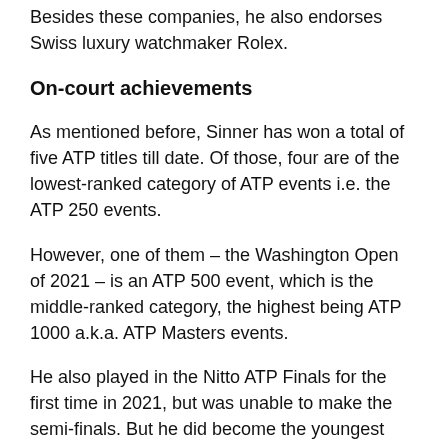Besides these companies, he also endorses Swiss luxury watchmaker Rolex.
On-court achievements
As mentioned before, Sinner has won a total of five ATP titles till date. Of those, four are of the lowest-ranked category of ATP events i.e. the ATP 250 events.
However, one of them – the Washington Open of 2021 – is an ATP 500 event, which is the middle-ranked category, the highest being ATP 1000 a.k.a. ATP Masters events.
He also played in the Nitto ATP Finals for the first time in 2021, but was unable to make the semi-finals. But he did become the youngest ATP Finals debutant since Lleyton Hewitt in 2001 to win his debut match in the year-end tournament.
His best Grand Slam showings came in the 2020 French Open and the 2021 US Open. At Roland Garros, he made it